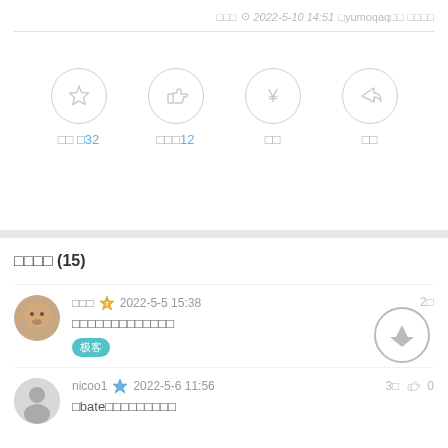□□□  ⊙ 2022-5-10 14:51  □yumoqaq□□  □□□□
[Figure (infographic): Four circular action buttons: star (favorite 32), thumbs up (like 12), yen (tip), share. Labels in Chinese with blue numbers for counts.]
□□□□ (15)
□□□ 🏅 2022-5-5 15:38   □□□□□□□□□□□□□  极客
nicoo1 🏅 2022-5-6 11:56   □bate□□□□□□□□□